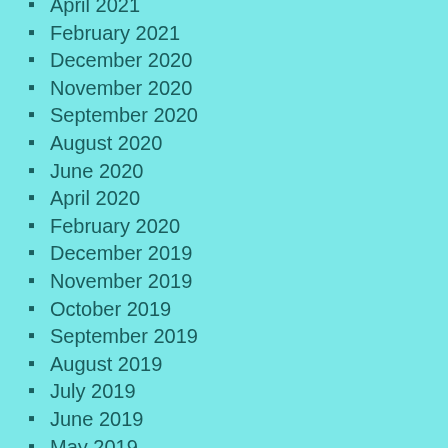April 2021
February 2021
December 2020
November 2020
September 2020
August 2020
June 2020
April 2020
February 2020
December 2019
November 2019
October 2019
September 2019
August 2019
July 2019
June 2019
May 2019
April 2019
March 2019
February 2019
January 2019
December 2018